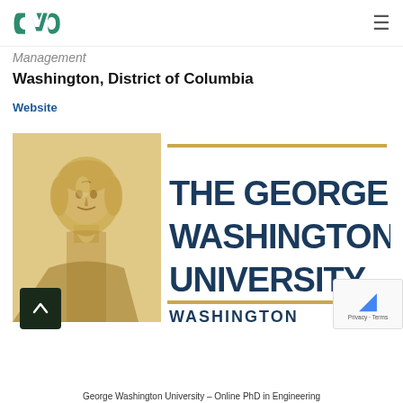CVO [logo] | hamburger menu
Management
Washington, District of Columbia
Website
[Figure (logo): The George Washington University logo: sepia portrait of George Washington on the left, and the university name 'THE GEORGE WASHINGTON UNIVERSITY WASHINGTON' in dark blue bold text on the right, flanked by gold horizontal bars]
George Washington University – Online PhD in Engineering